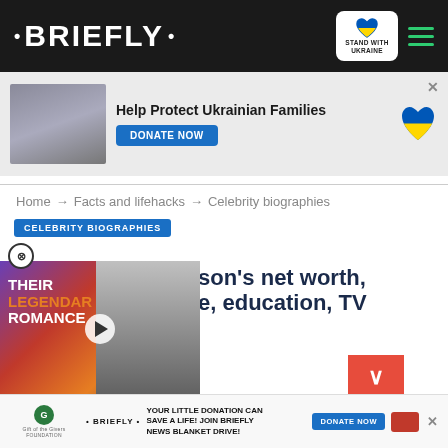• BRIEFLY •
[Figure (infographic): Advertisement banner: Help Protect Ukrainian Families with DONATE NOW button, Ukrainian flag heart icon, and photo of people]
Home → Facts and lifehacks → Celebrity biographies
CELEBRITY BIOGRAPHIES
[Figure (photo): Video thumbnail showing two men in suits with text 'THEIR LEGENDARY ROMANCE' overlaid, with a play button]
son's net worth, e, education, TV
[Figure (infographic): Bottom advertisement: YOUR LITTLE DONATION CAN SAVE A LIFE! JOIN BRIEFLY NEWS BLANKET DRIVE! with DONATE NOW button]